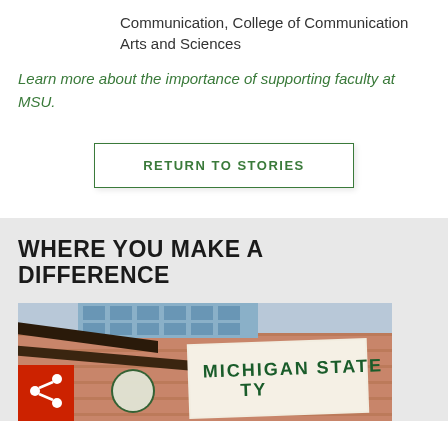Communication, College of Communication Arts and Sciences
Learn more about the importance of supporting faculty at MSU.
RETURN TO STORIES
WHERE YOU MAKE A DIFFERENCE
[Figure (photo): Michigan State University building exterior with brick and glass facade, MSU signage visible, share button overlay in bottom-left corner]